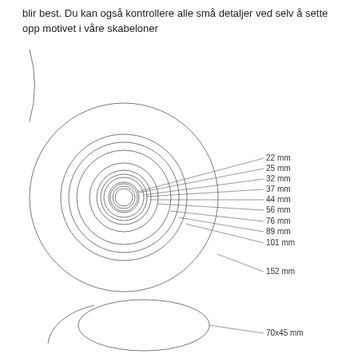blir best. Du kan også kontrollere alle små detaljer ved selv å sette opp motivet i våre skabeloner
[Figure (schematic): Technical diagram showing concentric circles (badges/buttons) with labeled diameters: 22mm, 25mm, 32mm, 37mm, 44mm, 56mm, 76mm, 89mm, 101mm, 152mm, and one oval shape labeled 70x45mm. Each circle has a leader line pointing to its label on the right side.]